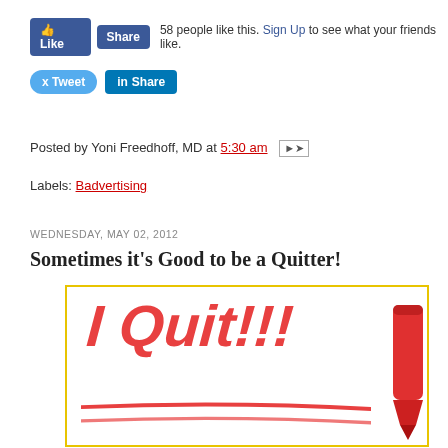[Figure (screenshot): Facebook Like and Share buttons with '58 people like this. Sign Up to see what your friends like.' text]
[Figure (screenshot): Twitter Tweet button and LinkedIn Share button]
Posted by Yoni Freedhoff, MD at 5:30 am
Labels: Badvertising
WEDNESDAY, MAY 02, 2012
Sometimes it's Good to be a Quitter!
[Figure (photo): Photo of 'I Quit!!!' written in red marker on white background with a red marker pen visible at the right edge, and red underlines beneath the text]